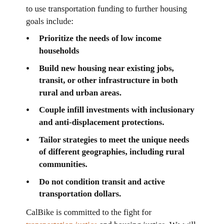to use transportation funding to further housing goals include:
Prioritize the needs of low income households
Build new housing near existing jobs, transit, or other infrastructure in both rural and urban areas.
Couple infill investments with inclusionary and anti-displacement protections.
Tailor strategies to meet the unique needs of different geographies, including rural communities.
Do not condition transit and active transportation dollars.
CalBike is committed to the fight for transportation justice and housing justice. We will continue to work with our coalition partners, including ClimatePlan,